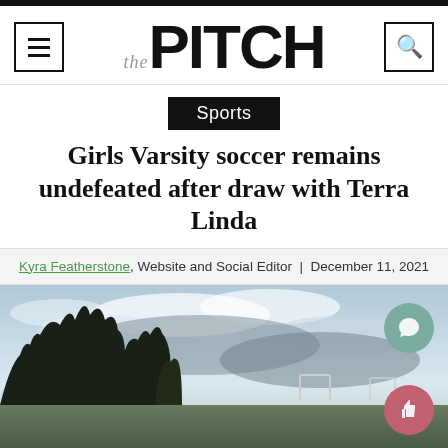the PITCH — Sports news website header with hamburger menu and search icon
Sports
Girls Varsity soccer remains undefeated after draw with Terra Linda
Kyra Featherstone, Website and Social Editor | December 11, 2021
[Figure (photo): Outdoor soccer field at dusk with trees silhouetted against a cloudy sky]